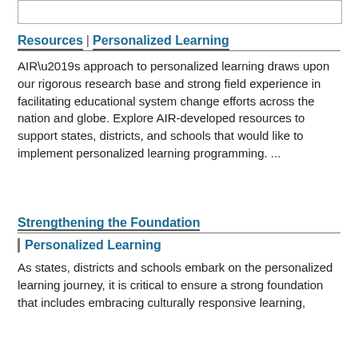[Figure (other): Empty box/frame at top of page]
Resources | Personalized Learning
AIR’s approach to personalized learning draws upon our rigorous research base and strong field experience in facilitating educational system change efforts across the nation and globe. Explore AIR-developed resources to support states, districts, and schools that would like to implement personalized learning programming. ...
Strengthening the Foundation | Personalized Learning
As states, districts and schools embark on the personalized learning journey, it is critical to ensure a strong foundation that includes embracing culturally responsive learning, and along the journey, they need flexibility ...